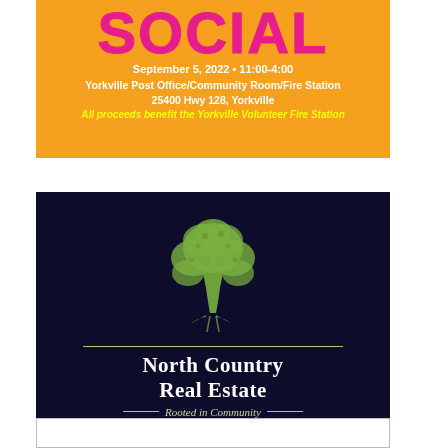[Figure (infographic): Community Social event flyer on orange background. Large pink bold text 'SOCIAL'. White bold text: 'September 5, 2022 • 11:00-4:00', 'Yorkville Post Office/Community Room/Fire Station', '25400 Hwy 128, Yorkville'. Yellow italic text: 'All proceeds benefit the Yorkville Volunteer Fire Station'.]
[Figure (logo): North Country Real Estate logo on dark navy background. Green tree illustration above a horizontal line. 'North Country Real Estate' in white serif font. 'Rooted in Community' tagline in italic with decorative lines.]